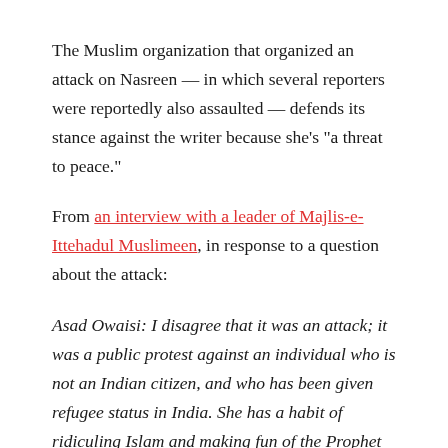The Muslim organization that organized an attack on Nasreen — in which several reporters were reportedly also assaulted — defends its stance against the writer because she's "a threat to peace."
From an interview with a leader of Majlis-e-Ittehadul Muslimeen, in response to a question about the attack:
Asad Owaisi: I disagree that it was an attack; it was a public protest against an individual who is not an Indian citizen, and who has been given refugee status in India. She has a habit of ridiculing Islam and making fun of the Prophet of Islam (pbuh). We wanted to lodge a peaceful democratic protest against her. Unfortunately the organizers did not listen to our viewpoint that resulted